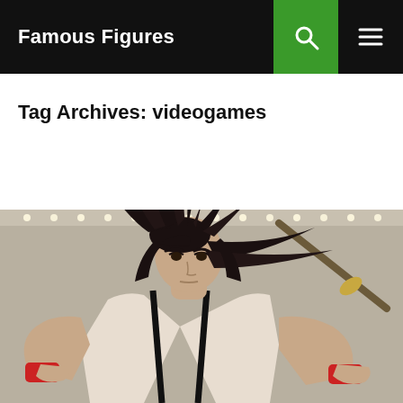Famous Figures
Tag Archives: videogames
[Figure (photo): A detailed figurine/statue of a video game character with spiky dark hair, holding a katana sword, wearing a white sleeveless top with black straps and red wrist wraps, photographed against a light grey background with LED lights visible at the top.]